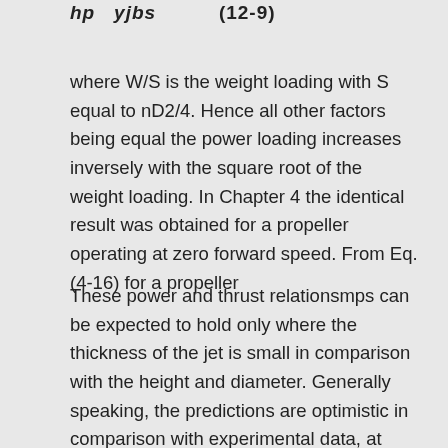where W/S is the weight loading with S equal to nD2/4. Hence all other factors being equal the power loading increases inversely with the square root of the weight loading. In Chapter 4 the identical result was obtained for a propeller operating at zero forward speed. From Eq. (4-16) for a propeller
These power and thrust relationsmps can be expected to hold only where the thickness of the jet is small in comparison with the height and diameter. Generally speaking, the predictions are optimistic in comparison with experimental data, at least as far as the power is concerned. Figure 12-4 compares model data taken from Ref. 3 with calculations based on Eqs. (12-4) and (12-8) from which the experimental values of pounds per horsepower for h/D values of 0.12 and 0.06 are seen to be significantly lower than the theory would predict. The experimental values, however, are still well